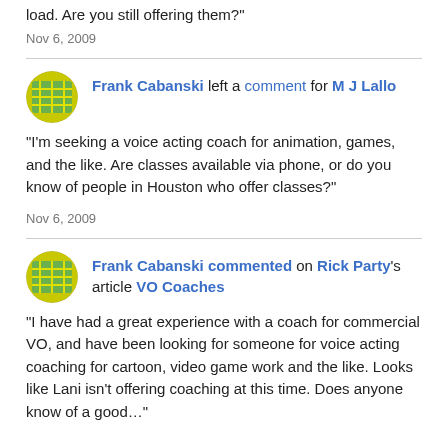load. Are you still offering them?"
Nov 6, 2009
Frank Cabanski left a comment for M J Lallo
"I'm seeking a voice acting coach for animation, games, and the like. Are classes available via phone, or do you know of people in Houston who offer classes?"
Nov 6, 2009
Frank Cabanski commented on Rick Party's article VO Coaches
"I have had a great experience with a coach for commercial VO, and have been looking for someone for voice acting coaching for cartoon, video game work and the like. Looks like Lani isn't offering coaching at this time. Does anyone know of a good…"